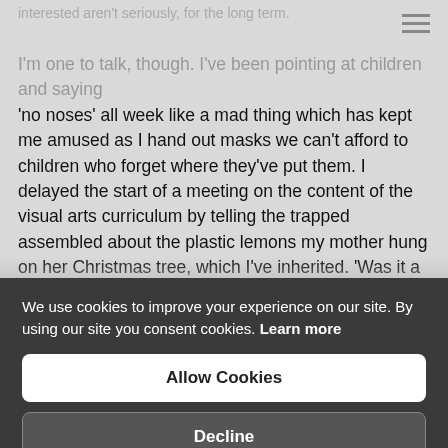interested aren't seriously, for the long term.
I'm one to talk, though. I've been pointing at children and saying 'no noses' all week like a mad thing which has kept me amused as I hand out masks we can't afford to children who forget where they've put them. I delayed the start of a meeting on the content of the visual arts curriculum by telling the trapped assembled about the plastic lemons my mother hung on her Christmas tree, which I've inherited. 'Was it a recycling thing?' one asked carefully. In the sixties? No, she thought they looked nice and she didn't have much spare cash. I think a Christmas tree looks unfinished without them, but that just shows what you can do with a child's brain if you start early enough. One
We use cookies to improve your experience on our site. By using our site you consent cookies. Learn more
Allow Cookies
Decline